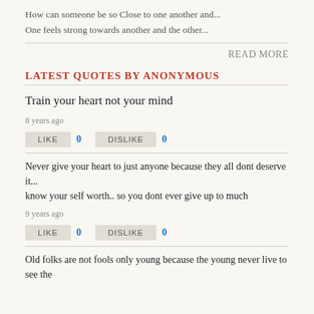How can someone be so Close to one another and...
One feels strong towards another and the other...
READ MORE
LATEST QUOTES BY ANONYMOUS
Train your heart not your mind
8 years ago
LIKE 0 DISLIKE 0
Never give your heart to just anyone because they all dont deserve it... know your self worth.. so you dont ever give up to much
9 years ago
LIKE 0 DISLIKE 0
Old folks are not fools only young because the young never live to see the